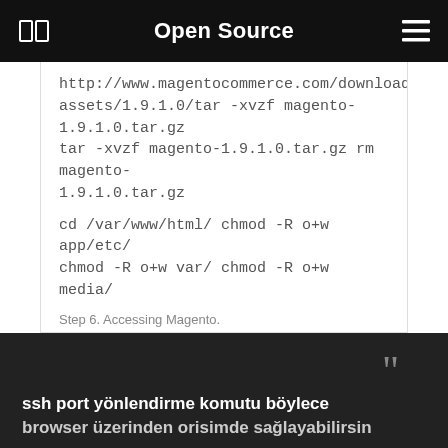Open Source
http://www.magentocommerce.com/downloads/assets/1.9.1.0/tar -xvzf magento-1.9.1.0.tar.gz tar -xvzf magento-1.9.1.0.tar.gz rm magento-1.9.1.0.tar.gz
cd /var/www/html/ chmod -R o+w app/etc/ chmod -R o+w var/ chmod -R o+w media/
Step 6. Accessing Magento.
http://yourdomain.com/ or http://server-ip  port 80
Read more • 0 comment
ssh port yönlendirme komutu böylece browser üzerinden orisimde sağlayabilirsin